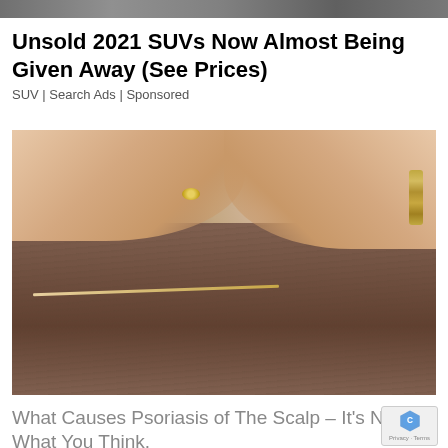[Figure (photo): Partial top image strip showing a cropped photo at the very top of the page]
Unsold 2021 SUVs Now Almost Being Given Away (See Prices)
SUV | Search Ads | Sponsored
[Figure (photo): Close-up photo of a person's scalp/hair being examined, with two hands visible — one wearing a gold ring and the other a gold bracelet — using a toothpick or stick to part the hair]
What Causes Psoriasis of The Scalp – It’s Not What You Think.
Psoriasis | Search Ads | Sponsored